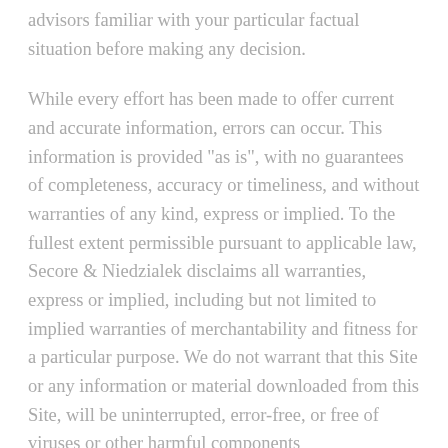advisors familiar with your particular factual situation before making any decision.
While every effort has been made to offer current and accurate information, errors can occur. This information is provided "as is", with no guarantees of completeness, accuracy or timeliness, and without warranties of any kind, express or implied. To the fullest extent permissible pursuant to applicable law, Secore & Niedzialek disclaims all warranties, express or implied, including but not limited to implied warranties of merchantability and fitness for a particular purpose. We do not warrant that this Site or any information or material downloaded from this Site, will be uninterrupted, error-free, or free of viruses or other harmful components
Links on this site lead to servers maintained by